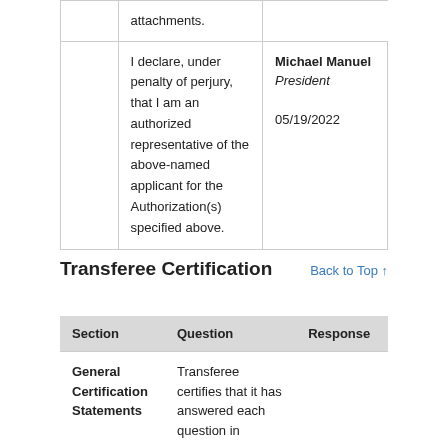|  |  |
| --- | --- |
| attachments. |  |
| I declare, under penalty of perjury, that I am an authorized representative of the above-named applicant for the Authorization(s) specified above. | Michael Manuel
President

05/19/2022 |
Transferee Certification
Back to Top ↑
| Section | Question | Response |
| --- | --- | --- |
| General Certification Statements | Transferee certifies that it has answered each question in |  |